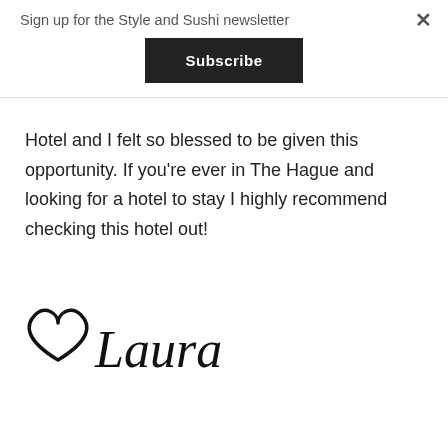Sign up for the Style and Sushi newsletter
Subscribe
Hotel and I felt so blessed to be given this opportunity. If you're ever in The Hague and looking for a hotel to stay I highly recommend checking this hotel out!
[Figure (illustration): Hand-drawn heart icon followed by handwritten text 'Laura' forming a signature]